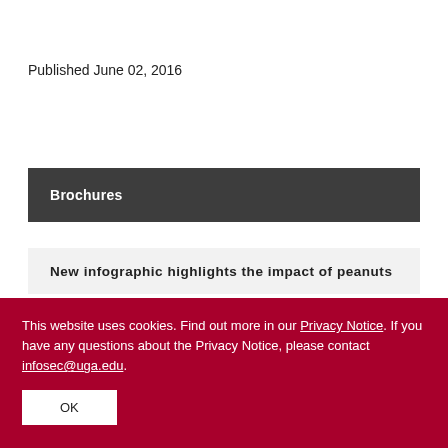Published June 02, 2016
Brochures
New infographic highlights the impact of peanuts
This website uses cookies. Find out more in our Privacy Notice. If you have any questions about the Privacy Notice, please contact infosec@uga.edu.
OK